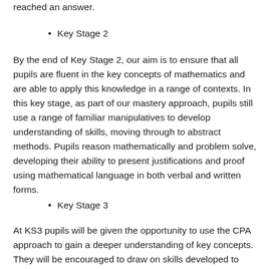reached an answer.
Key Stage 2
By the end of Key Stage 2, our aim is to ensure that all pupils are fluent in the key concepts of mathematics and are able to apply this knowledge in a range of contexts. In this key stage, as part of our mastery approach, pupils still use a range of familiar manipulatives to develop understanding of skills, moving through to abstract methods. Pupils reason mathematically and problem solve, developing their ability to present justifications and proof using mathematical language in both verbal and written forms.
Key Stage 3
At KS3 pupils will be given the opportunity to use the CPA approach to gain a deeper understanding of key concepts. They will be encouraged to draw on skills developed to solve problems and explore connections between the different areas of mathematics.